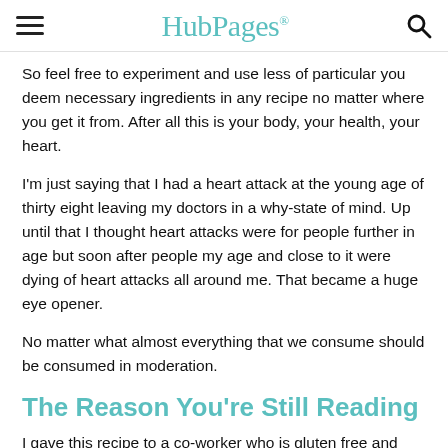HubPages
So feel free to experiment and use less of particular you deem necessary ingredients in any recipe no matter where you get it from. After all this is your body, your health, your heart.
I'm just saying that I had a heart attack at the young age of thirty eight leaving my doctors in a why-state of mind. Up until that I thought heart attacks were for people further in age but soon after people my age and close to it were dying of heart attacks all around me. That became a huge eye opener.
No matter what almost everything that we consume should be consumed in moderation.
The Reason You're Still Reading
I gave this recipe to a co-worker who is gluten free and could it find something that she could bake. She brought the